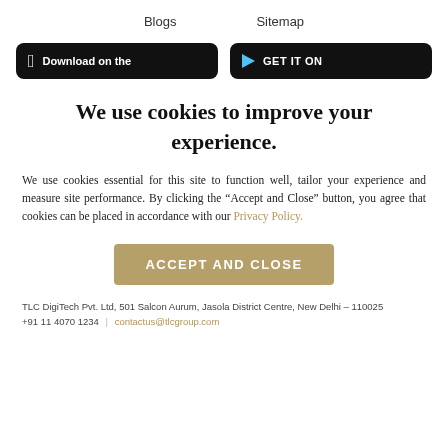Blogs    Sitemap
[Figure (screenshot): Two app store download buttons: 'Download on the' (Apple App Store) and 'GET IT ON' (Google Play Store), both with black backgrounds and rounded corners.]
We use cookies to improve your experience.
We use cookies essential for this site to function well, tailor your experience and measure site performance. By clicking the “Accept and Close” button, you agree that cookies can be placed in accordance with our Privacy Policy.
ACCEPT AND CLOSE
TLC DigiTech Pvt. Ltd, 501 Salcon Aurum, Jasola District Centre, New Delhi – 110025
+91 11 4070 1234 | contactus@tlcgroup.com